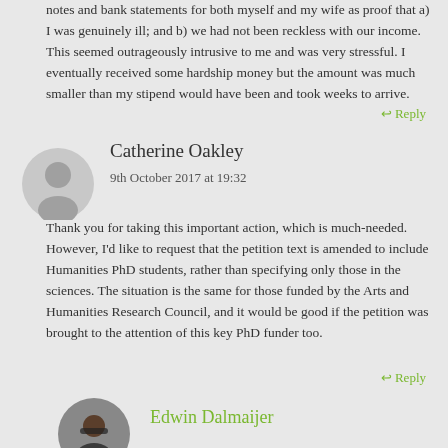notes and bank statements for both myself and my wife as proof that a) I was genuinely ill; and b) we had not been reckless with our income. This seemed outrageously intrusive to me and was very stressful. I eventually received some hardship money but the amount was much smaller than my stipend would have been and took weeks to arrive.
↩ Reply
Catherine Oakley
9th October 2017 at 19:32
Thank you for taking this important action, which is much-needed. However, I'd like to request that the petition text is amended to include Humanities PhD students, rather than specifying only those in the sciences. The situation is the same for those funded by the Arts and Humanities Research Council, and it would be good if the petition was brought to the attention of this key PhD funder too.
↩ Reply
Edwin Dalmaijer